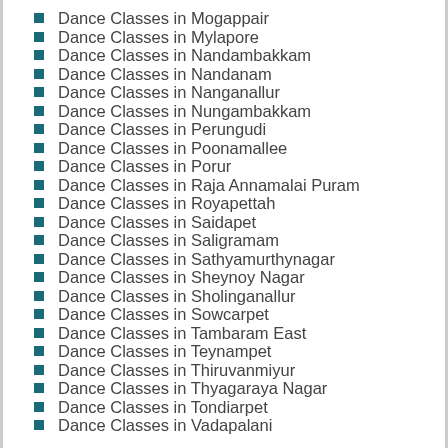Dance Classes in Mogappair
Dance Classes in Mylapore
Dance Classes in Nandambakkam
Dance Classes in Nandanam
Dance Classes in Nanganallur
Dance Classes in Nungambakkam
Dance Classes in Perungudi
Dance Classes in Poonamallee
Dance Classes in Porur
Dance Classes in Raja Annamalai Puram
Dance Classes in Royapettah
Dance Classes in Saidapet
Dance Classes in Saligramam
Dance Classes in Sathyamurthynagar
Dance Classes in Sheynoy Nagar
Dance Classes in Sholinganallur
Dance Classes in Sowcarpet
Dance Classes in Tambaram East
Dance Classes in Teynampet
Dance Classes in Thiruvanmiyur
Dance Classes in Thyagaraya Nagar
Dance Classes in Tondiarpet
Dance Classes in Vadapalani